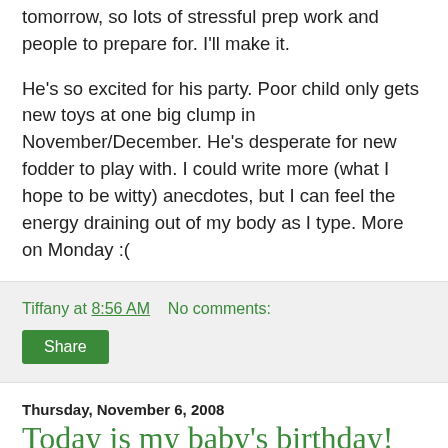tomorrow, so lots of stressful prep work and people to prepare for. I'll make it.
He's so excited for his party. Poor child only gets new toys at one big clump in November/December. He's desperate for new fodder to play with. I could write more (what I hope to be witty) anecdotes, but I can feel the energy draining out of my body as I type. More on Monday :(
Tiffany at 8:56 AM    No comments:
Share
Thursday, November 6, 2008
Today is my baby's birthday!
*sobs* He's getting so big! My precious little angel. He was all excited because it was mild enough today to wear his short-sleeved Spider Man shirt. The child is bitter about being forced to be Thomas the Tank Engine for Halloween again this year. He's dropping super hero hints all over the